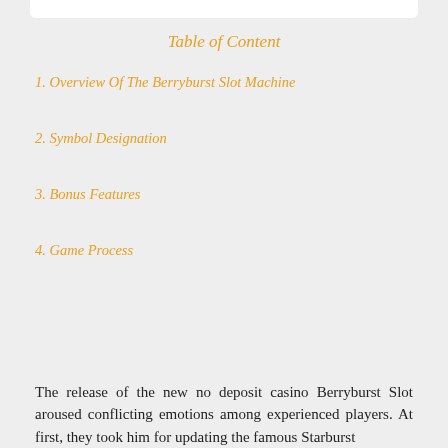Table of Content
1. Overview Of The Berryburst Slot Machine
2. Symbol Designation
3. Bonus Features
4. Game Process
The release of the new no deposit casino Berryburst Slot aroused conflicting emotions among experienced players. At first, they took him for updating the famous Starburst